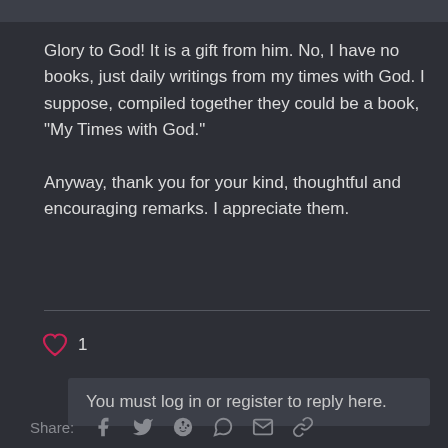Glory to God! It is a gift from him. No, I have no books, just daily writings from my times with God. I suppose, compiled together they could be a book, "My Times with God."

Anyway, thank you for your kind, thoughtful and encouraging remarks. I appreciate them.
1
You must log in or register to reply here.
Share: